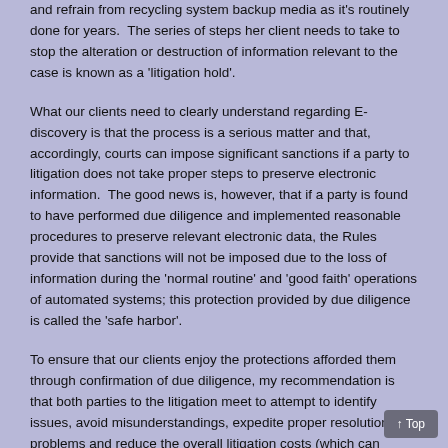and refrain from recycling system backup media as it's routinely done for years.  The series of steps her client needs to take to stop the alteration or destruction of information relevant to the case is known as a 'litigation hold'.
What our clients need to clearly understand regarding E-discovery is that the process is a serious matter and that, accordingly, courts can impose significant sanctions if a party to litigation does not take proper steps to preserve electronic information.  The good news is, however, that if a party is found to have performed due diligence and implemented reasonable procedures to preserve relevant electronic data, the Rules provide that sanctions will not be imposed due to the loss of information during the 'normal routine' and 'good faith' operations of automated systems; this protection provided by due diligence is called the 'safe harbor'.
To ensure that our clients enjoy the protections afforded them through confirmation of due diligence, my recommendation is that both parties to the litigation meet to attempt to identify issues, avoid misunderstandings, expedite proper resolution of problems and reduce the overall litigation costs (which can quickly get out of hand)